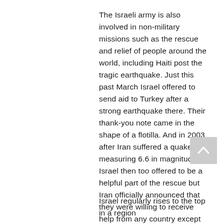The Israeli army is also involved in non-military missions such as the rescue and relief of people around the world, including Haiti post the tragic earthquake. Just this past March Israel offered to send aid to Turkey after a strong earthquake there. Their thank-you note came in the shape of a flotilla. And in 2003 after Iran suffered a quake measuring 6.6 in magnitude, Israel then too offered to be a helpful part of the rescue but Iran officially announced that they were willing to receive help from any country except for "the Zionist entity."
Israel regularly rises to the top in a region